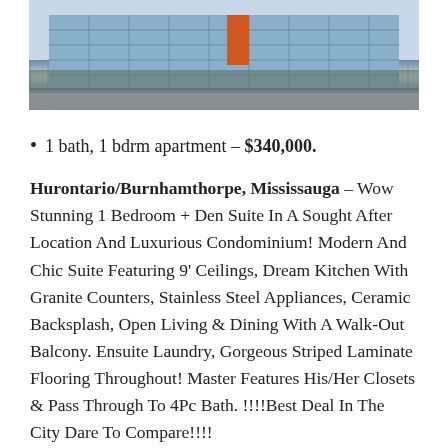[Figure (photo): Exterior photo of a modern multi-story condominium building with glass facade, shown from street level with road in foreground]
1 bath, 1 bdrm apartment – $340,000.
Hurontario/Burnhamthorpe, Mississauga – Wow Stunning 1 Bedroom + Den Suite In A Sought After Location And Luxurious Condominium! Modern And Chic Suite Featuring 9' Ceilings, Dream Kitchen With Granite Counters, Stainless Steel Appliances, Ceramic Backsplash, Open Living & Dining With A Walk-Out Balcony. Ensuite Laundry, Gorgeous Striped Laminate Flooring Throughout! Master Features His/Her Closets & Pass Through To 4Pc Bath. !!!!Best Deal In The City Dare To Compare!!!!
Property information